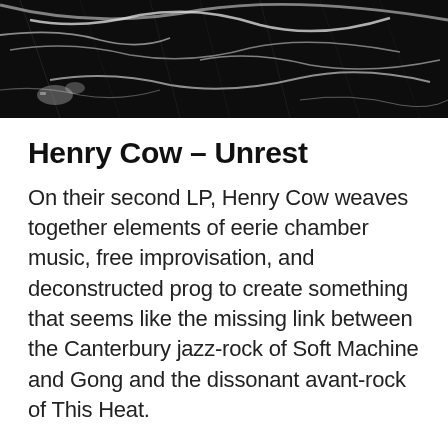[Figure (photo): Close-up photo of a dark, scratched black surface (possibly a vinyl record or cracked glass), showing white scratch marks and debris against a near-black background.]
Henry Cow – Unrest
On their second LP, Henry Cow weaves together elements of eerie chamber music, free improvisation, and deconstructed prog to create something that seems like the missing link between the Canterbury jazz-rock of Soft Machine and Gong and the dissonant avant-rock of This Heat.